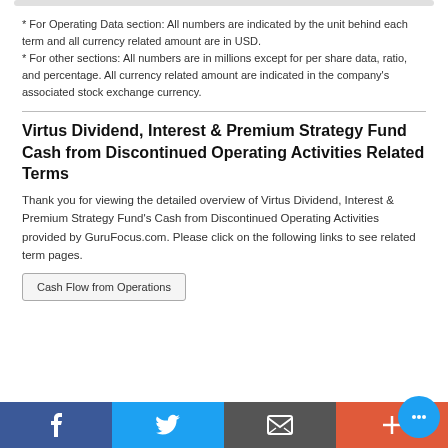* For Operating Data section: All numbers are indicated by the unit behind each term and all currency related amount are in USD.
* For other sections: All numbers are in millions except for per share data, ratio, and percentage. All currency related amount are indicated in the company's associated stock exchange currency.
Virtus Dividend, Interest & Premium Strategy Fund Cash from Discontinued Operating Activities Related Terms
Thank you for viewing the detailed overview of Virtus Dividend, Interest & Premium Strategy Fund's Cash from Discontinued Operating Activities provided by GuruFocus.com. Please click on the following links to see related term pages.
Cash Flow from Operations